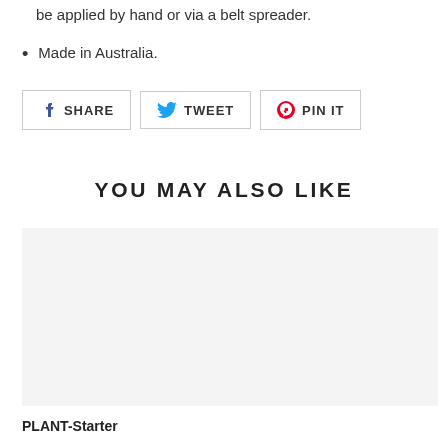be applied by hand or via a belt spreader.
Made in Australia.
[Figure (other): Social sharing buttons: SHARE (Facebook), TWEET (Twitter), PIN IT (Pinterest)]
YOU MAY ALSO LIKE
[Figure (other): Product image placeholder (light grey box)]
PLANT-Starter